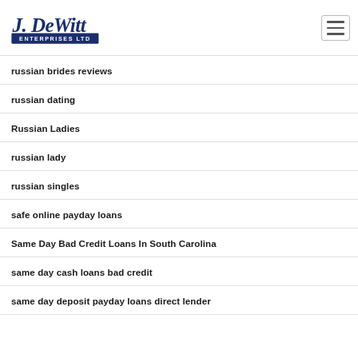J. DeWitt Enterprises Ltd
russian brides reviews
russian dating
Russian Ladies
russian lady
russian singles
safe online payday loans
Same Day Bad Credit Loans In South Carolina
same day cash loans bad credit
same day deposit payday loans direct lender